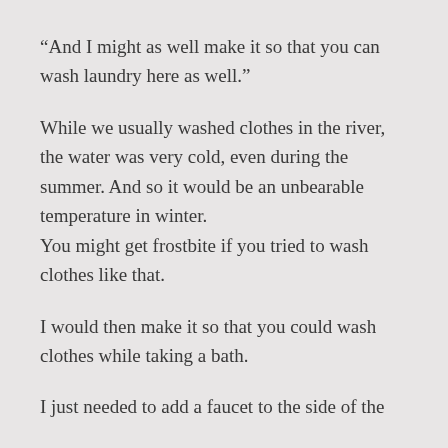“And I might as well make it so that you can wash laundry here as well.”
While we usually washed clothes in the river, the water was very cold, even during the summer. And so it would be an unbearable temperature in winter.
You might get frostbite if you tried to wash clothes like that.
I would then make it so that you could wash clothes while taking a bath.
I just needed to add a faucet to the side of the